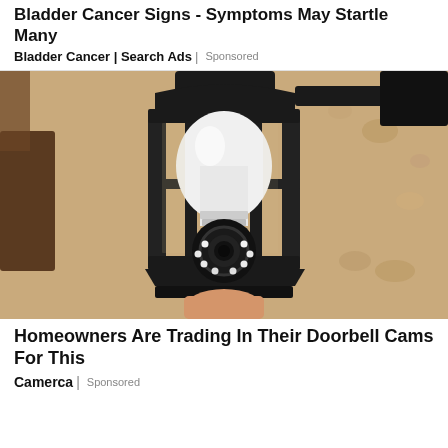Bladder Cancer Signs - Symptoms May Startle Many
Bladder Cancer | Search Ads | Sponsored
[Figure (photo): A security camera shaped like a light bulb installed inside a black outdoor lantern light fixture mounted on a textured stucco wall. The camera has a round lens with LED lights at the bottom of the bulb.]
Homeowners Are Trading In Their Doorbell Cams For This
Camerca | Sponsored